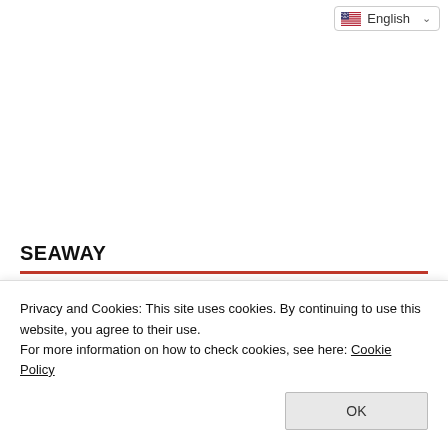English
SEAWAY
[Figure (photo): Photo of a white ferry/ship against a blue sky with clouds]
Tourists from Lesbos Chose Izmir for the Weekend
Privacy and Cookies: This site uses cookies. By continuing to use this website, you agree to their use.
For more information on how to check cookies, see here: Cookie Policy
OK